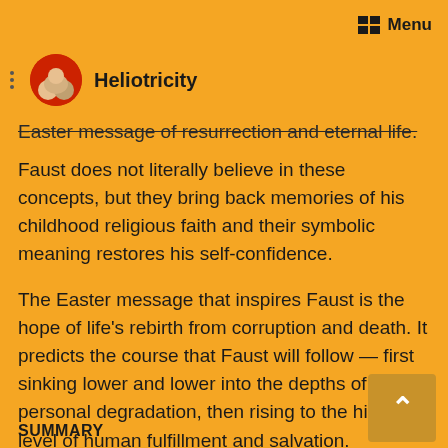Menu
[Figure (logo): Heliotricity website logo with circular profile image and site name]
Easter message of resurrection and eternal life. Faust does not literally believe in these concepts, but they bring back memories of his childhood religious faith and their symbolic meaning restores his self-confidence.
The Easter message that inspires Faust is the hope of life's rebirth from corruption and death. It predicts the course that Faust will follow — first sinking lower and lower into the depths of personal degradation, then rising to the highest level of human fulfillment and salvation.
Outside the City Gate
SUMMARY